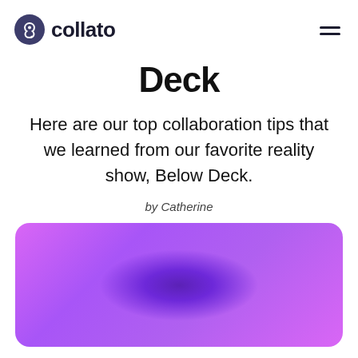collato
Deck
Here are our top collaboration tips that we learned from our favorite reality show, Below Deck.
by Catherine
[Figure (illustration): A purple/violet gradient card with a dark radial glow in the center, rounded corners]